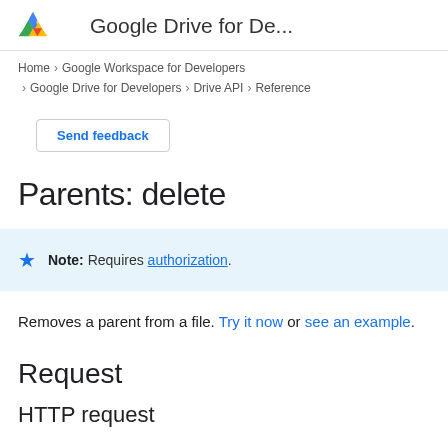Google Drive for De...
Home > Google Workspace for Developers > Google Drive for Developers > Drive API > Reference
Send feedback
Parents: delete
Note: Requires authorization.
Removes a parent from a file. Try it now or see an example.
Request
HTTP request